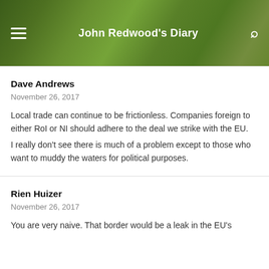John Redwood's Diary
Dave Andrews
November 26, 2017
Local trade can continue to be frictionless. Companies foreign to either RoI or NI should adhere to the deal we strike with the EU.
I really don't see there is much of a problem except to those who want to muddy the waters for political purposes.
Rien Huizer
November 26, 2017
You are very naive. That border would be a leak in the EU's